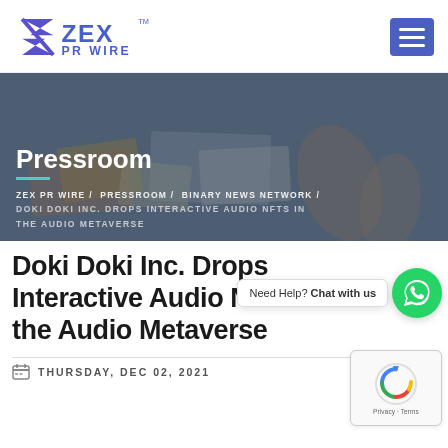[Figure (logo): ZEX PR WIRE logo with stylized Z/X mark in blue/purple and text 'ZEX PR WIRE' with TM superscript]
[Figure (photo): Pressroom banner with background photo of people working at a table with documents and papers, overlaid with dark tint]
Pressroom
ZEX PR WIRE / PRESSROOM / BINARY NEWS NETWORK / DOKI DOKI INC. DROPS INTERACTIVE AUDIO NFTS IN THE AUDIO METAVERSE
Doki Doki Inc. Drops Interactive Audio NFTs in the Audio Metaverse
THURSDAY, DEC 02, 2021